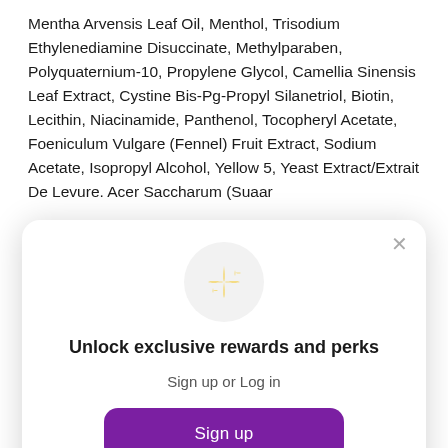Mentha Arvensis Leaf Oil, Menthol, Trisodium Ethylenediamine Disuccinate, Methylparaben, Polyquaternium-10, Propylene Glycol, Camellia Sinensis Leaf Extract, Cystine Bis-Pg-Propyl Silanetriol, Biotin, Lecithin, Niacinamide, Panthenol, Tocopheryl Acetate, Foeniculum Vulgare (Fennel) Fruit Extract, Sodium Acetate, Isopropyl Alcohol, Yellow 5, Yeast Extract/Extrait De Levure. Acer Saccharum (Suaar
[Figure (screenshot): Modal dialog with sparkle emoji icon in a grey circle, heading 'Unlock exclusive rewards and perks', subtext 'Sign up or Log in', a purple 'Sign up' button, and 'Already have an account? Sign in' link. A close (×) button in the top right corner.]
Mentha Piperita (Peppermint) Oil, Mentha Arvensis